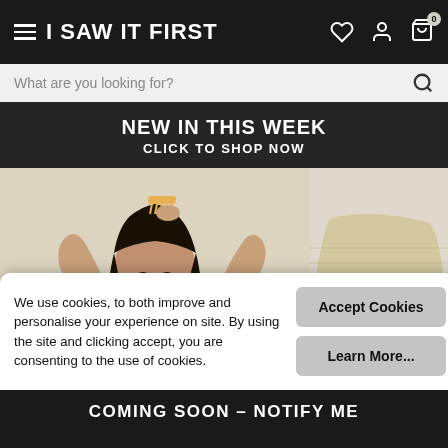I SAW IT FIRST
What are you looking for?
NEW IN THIS WEEK
CLICK TO SHOP NOW
[Figure (photo): Fashion model with long dark hair holding a hair accessory above her head, wearing a light-colored outfit, photographed from the waist up against a light background. Two product images side by side with a wishlist heart button on the right image.]
We use cookies, to both improve and personalise your experience on site. By using the site and clicking accept, you are consenting to the use of cookies.
Accept Cookies
Learn More...
15.00
COMING SOON – NOTIFY ME